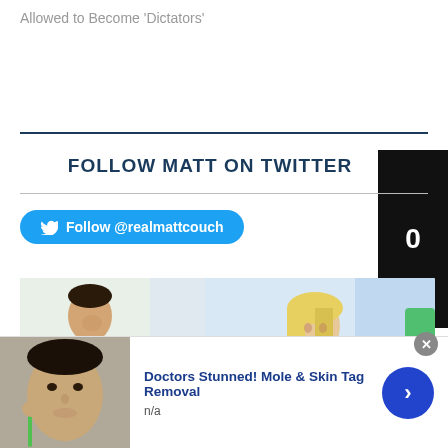Allowed to Become 'Dictators'
FOLLOW MATT ON TWITTER
Follow @realmattcouch
[Figure (photo): Photo strip showing two people: a man in a green apron on the left and a woman with blonde hair on the right, in what appears to be a medical or professional setting.]
[Figure (photo): Advertisement banner showing a person's face with a dental/medical tool. Title: Doctors Stunned! Mole & Skin Tag Removal. Subtitle: n/a]
Doctors Stunned! Mole & Skin Tag Removal
n/a